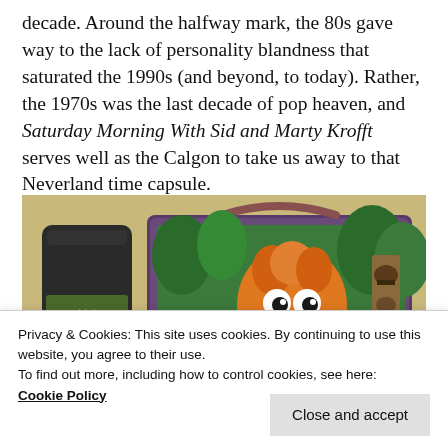decade. Around the halfway mark, the 80s gave way to the lack of personality blandness that saturated the 1990s (and beyond, to today). Rather, the 1970s was the last decade of pop heaven, and Saturday Morning With Sid and Marty Krofft serves well as the Calgon to take us away to that Neverland time capsule.
[Figure (photo): A vintage Sid and Marty Krofft lunch box with a thermos. The lunch box features a cartoon character with orange hair and big eyes, with jungle/totem imagery. Warm yellow-brown background.]
Privacy & Cookies: This site uses cookies. By continuing to use this website, you agree to their use.
To find out more, including how to control cookies, see here:
Cookie Policy